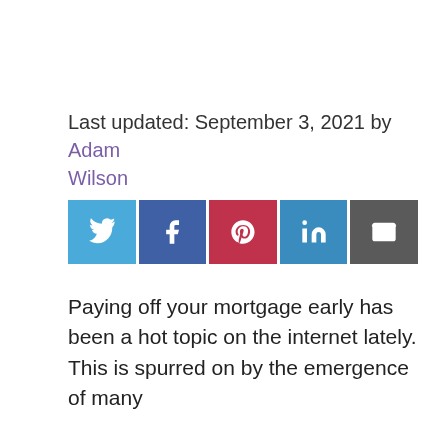Last updated: September 3, 2021 by Adam Wilson
[Figure (other): Social share buttons: Twitter, Facebook, Pinterest, LinkedIn, Email]
Paying off your mortgage early has been a hot topic on the internet lately. This is spurred on by the emergence of many